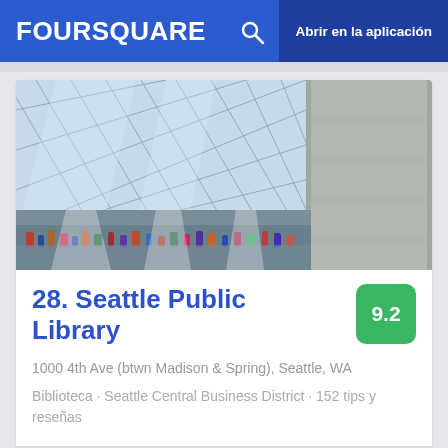FOURSQUARE  🔍  Abrir en la aplicación
[Figure (photo): Interior photo of Seattle Public Library showing the distinctive glass lattice architecture and interior floors with people below]
28. Seattle Public Library
9.2
1000 4th Ave (btwn Madison & Spring), Seattle, WA
Biblioteca · Seattle Central Business District · 152 tips y reseñas
[Figure (photo): Partial view of a food item at the bottom of the page, appears to be a bowl of soup or stew]